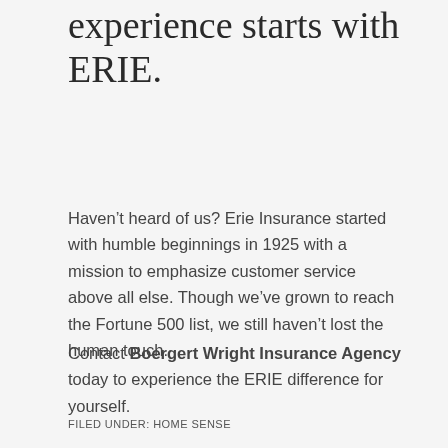experience starts with ERIE.
Haven’t heard of us? Erie Insurance started with humble beginnings in 1925 with a mission to emphasize customer service above all else. Though we’ve grown to reach the Fortune 500 list, we still haven’t lost the human touch.
Contact Boergert Wright Insurance Agency today to experience the ERIE difference for yourself.
FILED UNDER: HOME SENSE